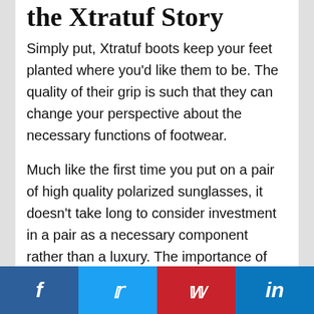the Xtratuf Story
Simply put, Xtratuf boots keep your feet planted where you'd like them to be. The quality of their grip is such that they can change your perspective about the necessary functions of footwear.
Much like the first time you put on a pair of high quality polarized sunglasses, it doesn't take long to consider investment in a pair as a necessary component rather than a luxury. The importance of the purchase grows with the amount of time you spend on the water.
[Figure (infographic): Social media sharing bar with Facebook, Twitter, Pinterest, and LinkedIn icons]